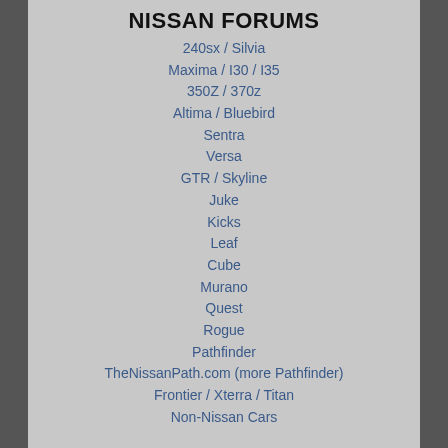NISSAN FORUMS
240sx / Silvia
Maxima / I30 / I35
350Z / 370z
Altima / Bluebird
Sentra
Versa
GTR / Skyline
Juke
Kicks
Leaf
Cube
Murano
Quest
Rogue
Pathfinder
TheNissanPath.com (more Pathfinder)
Frontier / Xterra / Titan
Non-Nissan Cars
INFINITI FORUMS
G35 / G37 / G25 / Q40
Q50 / Q60
M35 / M45
M37 / M56 / Q70
Q30